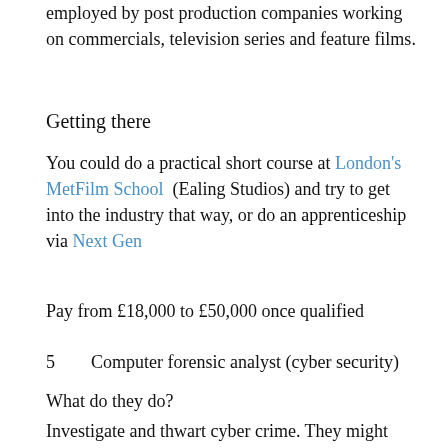employed by post production companies working on commercials, television series and feature films.
Getting there
You could do a practical short course at London's MetFilm School (Ealing Studios) and try to get into the industry that way, or do an apprenticeship via Next Gen
Pay from £18,000 to £50,000 once qualified
5        Computer forensic analyst (cyber security)
What do they do?
Investigate and thwart cyber crime. They might work for the police or security services, or for computer security specialists and in house teams. They'll follow and analyse electronic data, ultimately to help uncover cyber